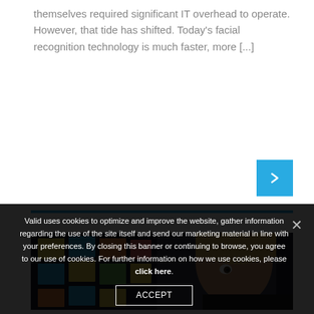themselves required significant IT overhead to operate. However, that tide has shifted. Today's facial recognition technology is much faster, more [...]
[Figure (photo): Woman looking at a board covered with colorful sticky notes (yellow, blue, orange, green, pink)]
Valid uses cookies to optimize and improve the website, gather information regarding the use of the site itself and send our marketing material in line with your preferences. By closing this banner or continuing to browse, you agree to our use of cookies. For further information on how we use cookies, please click here.